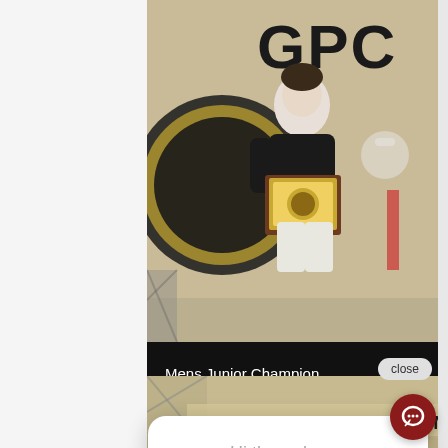[Figure (photo): Woman in black shirt holding a framed GPC Nationals award/plaque, standing in front of a large GPC banner with black and gold colors. Gym setting with kettlebell imagery in background.]
Mens Junior Champion
Brian Cook – 790.00kg @ 90.00 kg
[Figure (screenshot): Chat widget popup with Bucci's Gym logo showing message: 'Hi there, have a question? Text us here.' with a close button and red chat bubble icon in bottom right corner.]
[Figure (photo): Bottom portion of venue photo showing 'GPC TJMES POWERLIFTING NATION' text on gym wall banner.]